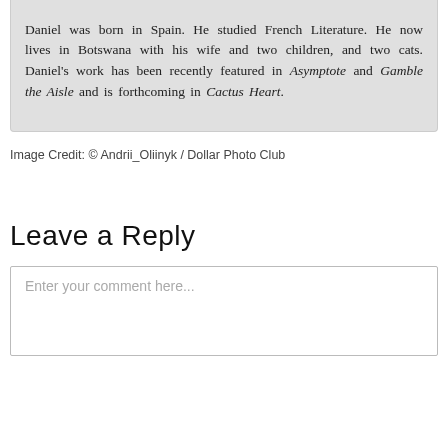Daniel was born in Spain. He studied French Literature. He now lives in Botswana with his wife and two children, and two cats. Daniel's work has been recently featured in Asymptote and Gamble the Aisle and is forthcoming in Cactus Heart.
Image Credit: © Andrii_Oliinyk / Dollar Photo Club
Leave a Reply
Enter your comment here...